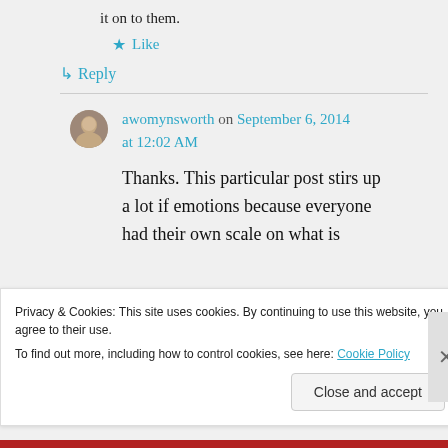it on to them.
★ Like
↳ Reply
awomynsworth on September 6, 2014 at 12:02 AM
Thanks. This particular post stirs up a lot if emotions because everyone had their own scale on what is
Privacy & Cookies: This site uses cookies. By continuing to use this website, you agree to their use.
To find out more, including how to control cookies, see here: Cookie Policy